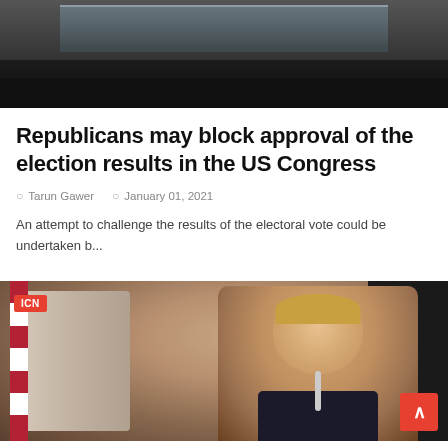[Figure (photo): Top portion of a building with dark ceiling/glass structure, architecture photo]
Republicans may block approval of the election results in the US Congress
Tarun Gawer   January 01, 2021
An attempt to challenge the results of the electoral vote could be undertaken b...
[Figure (photo): Photo of a man (Donald Trump) speaking at a meeting table with microphone, American flag visible in background, ICN badge overlay]